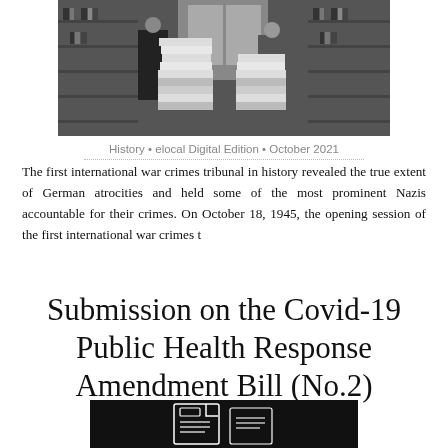[Figure (photo): Black and white historical photograph showing two people in a room with shelving and large stacks of documents/papers]
History • elocal Digital Edition • October 2021
The first international war crimes tribunal in history revealed the true extent of German atrocities and held some of the most prominent Nazis accountable for their crimes. On October 18, 1945, the opening session of the first international war crimes t
Submission on the Covid-19 Public Health Response Amendment Bill (No.2)
[Figure (illustration): Dark background illustration of document/file icon with white line art showing stacked papers with lines of text]